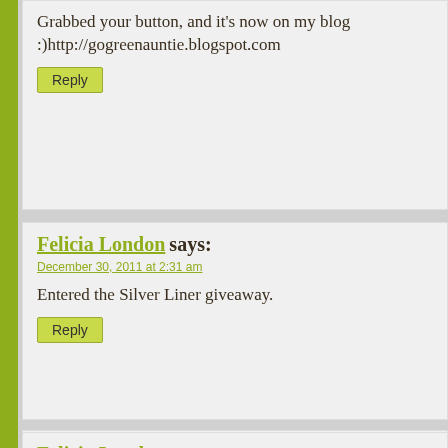Grabbed your button, and it's now on my blog :)http://gogreenauntie.blogspot.com
Reply
Felicia London says:
December 30, 2011 at 2:31 am
Entered the Silver Liner giveaway.
Reply
Felicia London says:
December 30, 2011 at 2:31 am
Entered your Twin City AppleCheeks giveaway 🙂
Reply
Felicia London says:
December 30, 2011 at 2:39 am